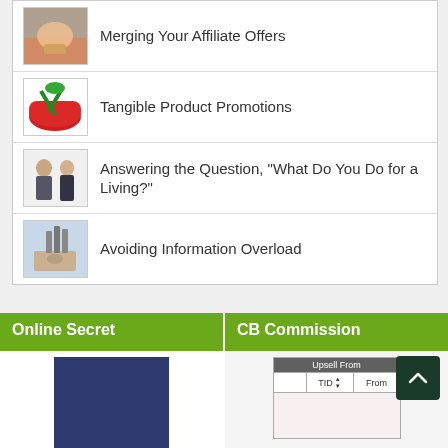Merging Your Affiliate Offers
Tangible Product Promotions
Answering the Question, “What Do You Do for a Living?”
Avoiding Information Overload
Online Secret
CB Commission
[Figure (screenshot): Dark blue rectangle placeholder image in the Online Secret column]
[Figure (screenshot): Table widget showing TID and Upsell From columns in CB Commission column]